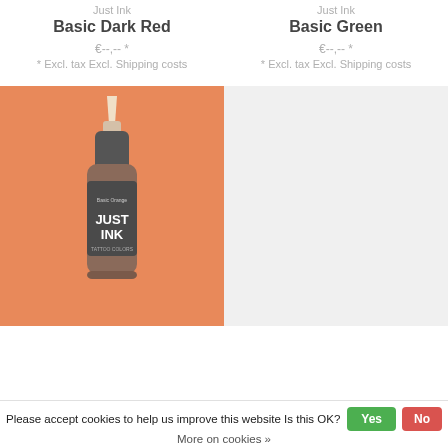Just Ink
Basic Dark Red
€--,-- *
* Excl. tax Excl. Shipping costs
Just Ink
Basic Green
€--,-- *
* Excl. tax Excl. Shipping costs
[Figure (photo): A bottle of Just Ink Basic Orange tattoo ink on an orange background]
[Figure (photo): Light grey placeholder image area]
Please accept cookies to help us improve this website Is this OK? Yes No
More on cookies »